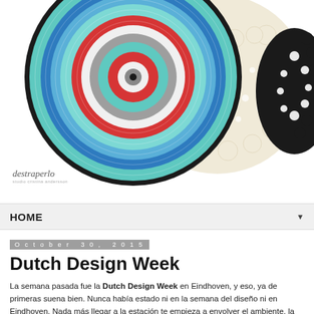[Figure (photo): Colorful crocheted mandala/doily artwork with concentric circles in red, turquoise, blue, and black, alongside cream-colored lace crochet pieces, on a white background. A handwritten-style logo 'destraperlo' appears in the lower-left corner.]
HOME ▼
October 30, 2015
Dutch Design Week
La semana pasada fue la Dutch Design Week en Eindhoven, y eso, ya de primeras suena bien. Nunca había estado ni en la semana del diseño ni en Eindhoven. Nada más llegar a la estación te empieza a envolver el ambiente, la ciudad se vuelca con este evento. Allá donde mires ves algo curioso y llamativo, rarísimo o super moderno.